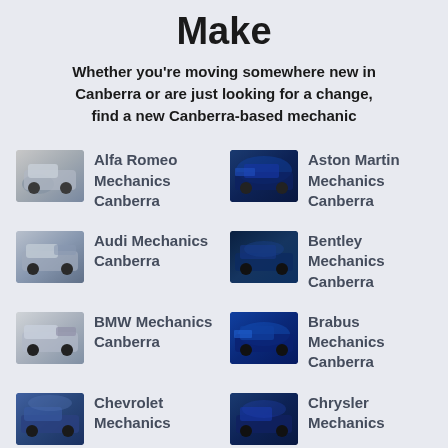Make
Whether you're moving somewhere new in Canberra or are just looking for a change, find a new Canberra-based mechanic
Alfa Romeo Mechanics Canberra
Aston Martin Mechanics Canberra
Audi Mechanics Canberra
Bentley Mechanics Canberra
BMW Mechanics Canberra
Brabus Mechanics Canberra
Chevrolet Mechanics
Chrysler Mechanics